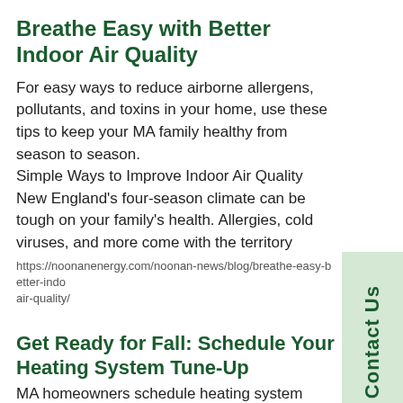Breathe Easy with Better Indoor Air Quality
For easy ways to reduce airborne allergens, pollutants, and toxins in your home, use these tips to keep your MA family healthy from season to season.
Simple Ways to Improve Indoor Air Quality New England's four-season climate can be tough on your family's health. Allergies, cold viruses, and more come with the territory
https://noonanenergy.com/noonan-news/blog/breathe-easy-better-indo air-quality/
Get Ready for Fall: Schedule Your Heating System Tune-Up
MA homeowners schedule heating system tune-ups to prepare for another New England winter. See how you can save money and stress with annual maintenance.
Fall will be here before we know it! Make the most of the season with these easy steps: Massachusetts Homeowners' Autumn Checklist -    Go apple picking -    Rake...
https://noonanenergy.com/noonan-news/blog/get-ready-fall-schedule-your